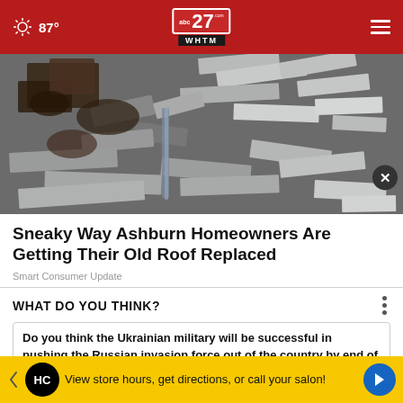87° | abc27 WHTM
[Figure (photo): Aerial or close-up photo of old roof shingles and debris, showing damaged/removed roofing materials scattered in a pile]
Sneaky Way Ashburn Homeowners Are Getting Their Old Roof Replaced
Smart Consumer Update
WHAT DO YOU THINK?
Do you think the Ukrainian military will be successful in pushing the Russian invasion force out of the country by the end of the year?
[Figure (infographic): Advertisement banner: HC logo (Hairclub?) with text 'View store hours, get directions, or call your salon!']